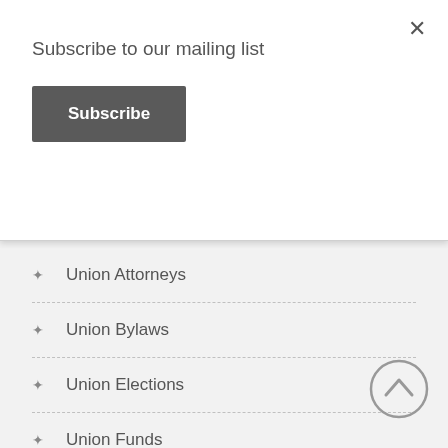Subscribe to our mailing list
Subscribe
Union Attorneys
Union Bylaws
Union Elections
Union Funds
Union Meetings
Union Membership
Untruthfulness
Use of Force